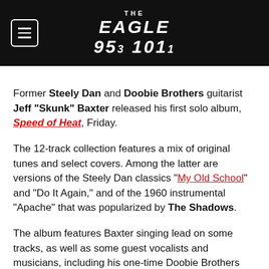THE EAGLE 95.3 101.1
Former Steely Dan and Doobie Brothers guitarist Jeff "Skunk" Baxter released his first solo album, Speed of Heat, Friday.
The 12-track collection features a mix of original tunes and select covers. Among the latter are versions of the Steely Dan classics "My Old School" and "Do It Again," and of the 1960 instrumental "Apache" that was popularized by The Shadows.
The album features Baxter singing lead on some tracks, as well as some guest vocalists and musicians, including his one-time Doobie Brothers bandmate Michael McDonald, country star Clint Black and blues rocker Jonny Lang.